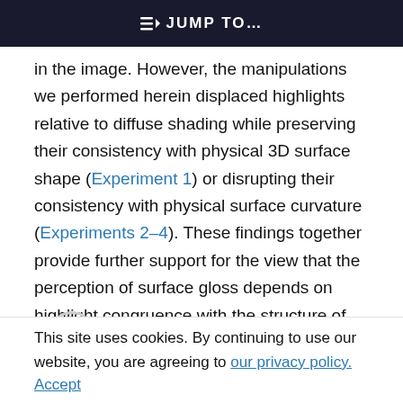JUMP TO...
in the image. However, the manipulations we performed herein displaced highlights relative to diffuse shading while preserving their consistency with physical 3D surface shape (Experiment 1) or disrupting their consistency with physical surface curvature (Experiments 2–4). These findings together provide further support for the view that the perception of surface gloss depends on highlight congruence with the structure of diffuse luminance variations in images and not just their
consistency with surface shape.
This site uses cookies. By continuing to use our website, you are agreeing to our privacy policy. Accept
Acknowledgments